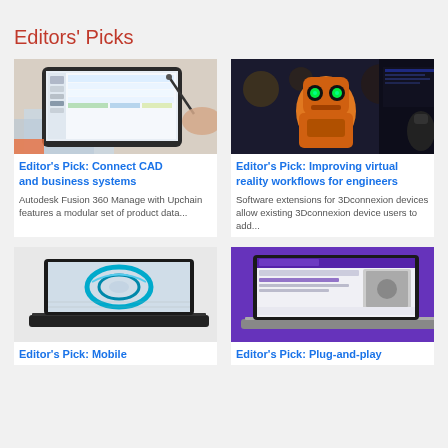Editors' Picks
[Figure (photo): Tablet with CAD/data management software on screen, hand holding stylus]
Editor's Pick: Connect CAD and business systems
Autodesk Fusion 360 Manage with Upchain features a modular set of product data...
[Figure (photo): Orange robot character with glowing green eyes in dark environment, 3Dconnexion software interface visible]
Editor's Pick: Improving virtual reality workflows for engineers
Software extensions for 3Dconnexion devices allow existing 3Dconnexion device users to add...
[Figure (photo): Laptop displaying CAD ring/torus model on screen]
Editor's Pick: Mobile
[Figure (photo): Laptop with purple background showing software interface]
Editor's Pick: Plug-and-play